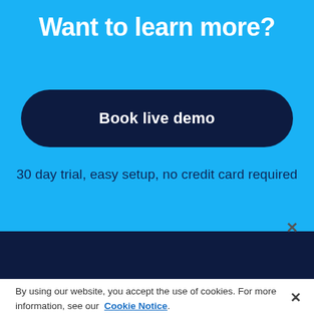Want to learn more?
Book live demo
30 day trial, easy setup, no credit card required
By using our website, you accept the use of cookies. For more information, see our Cookie Notice.